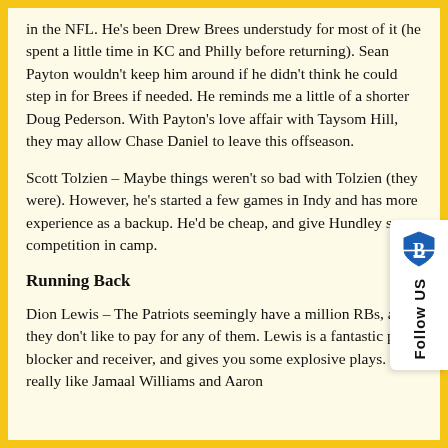in the NFL. He's been Drew Brees understudy for most of it (he spent a little time in KC and Philly before returning). Sean Payton wouldn't keep him around if he didn't think he could step in for Brees if needed. He reminds me a little of a shorter Doug Pederson. With Payton's love affair with Taysom Hill, they may allow Chase Daniel to leave this offseason.
Scott Tolzien – Maybe things weren't so bad with Tolzien (they were). However, he's started a few games in Indy and has more experience as a backup. He'd be cheap, and give Hundley some competition in camp.
Running Back
Dion Lewis – The Patriots seemingly have a million RBs, and they don't like to pay for any of them. Lewis is a fantastic pass blocker and receiver, and gives you some explosive plays. I really like Jamaal Williams and Aaron